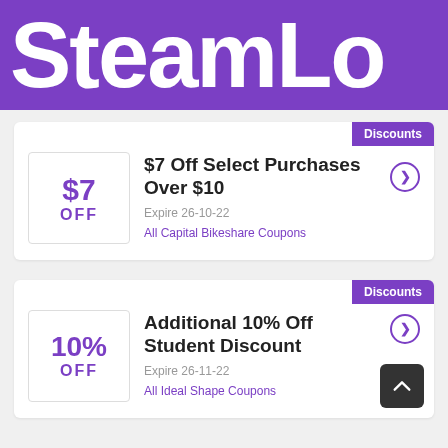SteamLo
Discounts
$7 OFF
$7 Off Select Purchases Over $10
Expire 26-10-22
All Capital Bikeshare Coupons
Discounts
10% OFF
Additional 10% Off Student Discount
Expire 26-11-22
All Ideal Shape Coupons